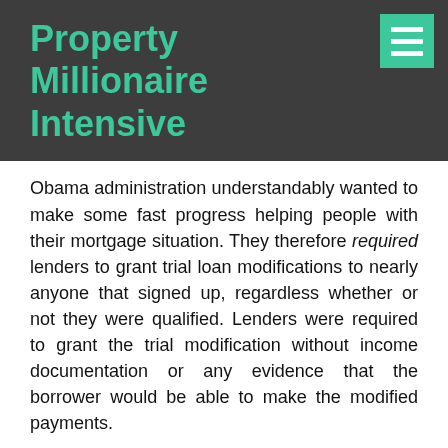Property Millionaire Intensive
Obama administration understandably wanted to make some fast progress helping people with their mortgage situation. They therefore required lenders to grant trial loan modifications to nearly anyone that signed up, regardless whether or not they were qualified. Lenders were required to grant the trial modification without income documentation or any evidence that the borrower would be able to make the modified payments.
It wasn't until the time came to convert these